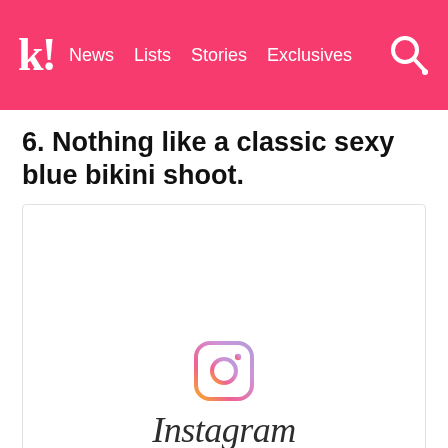k! News Lists Stories Exclusives
6. Nothing like a classic sexy blue bikini shoot.
[Figure (screenshot): Embedded Instagram placeholder showing the Instagram camera icon and wordmark, with caption text 'The link to this photo or video may be']